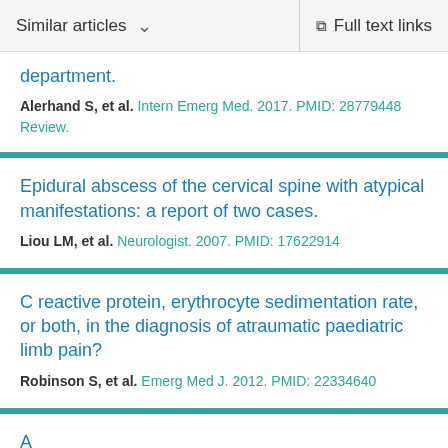Similar articles   Full text links
department.
Alerhand S, et al. Intern Emerg Med. 2017. PMID: 28779448
Review.
Epidural abscess of the cervical spine with atypical manifestations: a report of two cases.
Liou LM, et al. Neurologist. 2007. PMID: 17622914
C reactive protein, erythrocyte sedimentation rate, or both, in the diagnosis of atraumatic paediatric limb pain?
Robinson S, et al. Emerg Med J. 2012. PMID: 22334640
A...